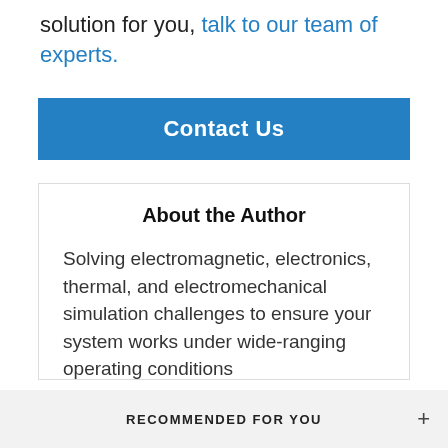solution for you, talk to our team of experts.
Contact Us
About the Author
Solving electromagnetic, electronics, thermal, and electromechanical simulation challenges to ensure your system works under wide-ranging operating conditions
RECOMMENDED FOR YOU